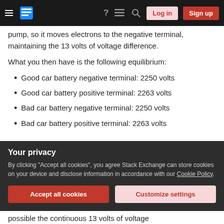Stack Exchange navigation bar with Log in and Sign up buttons
pump, so it moves electrons to the negative terminal, maintaining the 13 volts of voltage difference.
What you then have is the following equilibrium:
Good car battery negative terminal: 2250 volts
Good car battery positive terminal: 2263 volts
Bad car battery negative terminal: 2250 volts
Bad car battery positive terminal: 2263 volts
Your privacy
By clicking "Accept all cookies", you agree Stack Exchange can store cookies on your device and disclose information in accordance with our Cookie Policy.
possible the continuous 13 volts of voltage